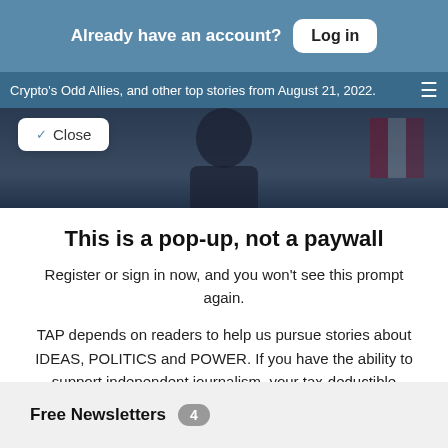Already have an account? Log in
Crypto's Odd Allies, and other top stories from August 21, 2022.
Close
This is a pop-up, not a paywall
Register or sign in now, and you won't see this prompt again.
TAP depends on readers to help us pursue stories about IDEAS, POLITICS and POWER. If you have the ability to support independent journalism, your tax-deductible contribution will help keep this site free
Free Newsletters 4